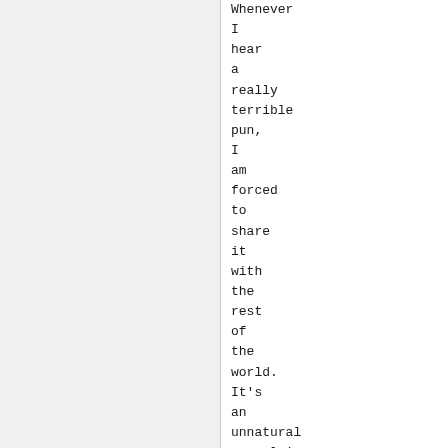Whenever I hear a really terrible pun, I am forced to share it with the rest of the world. It's an unnatural compulsion, somewhat akin, I think, to the funniest joke in the world. In fact, I will